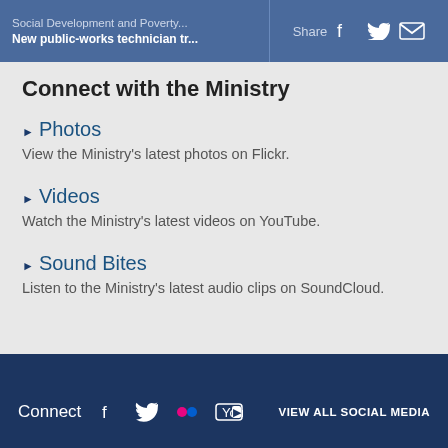Social Development and Poverty... | New public-works technician tr... | Share
Connect with the Ministry
Photos — View the Ministry's latest photos on Flickr.
Videos — Watch the Ministry's latest videos on YouTube.
Sound Bites — Listen to the Ministry's latest audio clips on SoundCloud.
Connect | VIEW ALL SOCIAL MEDIA